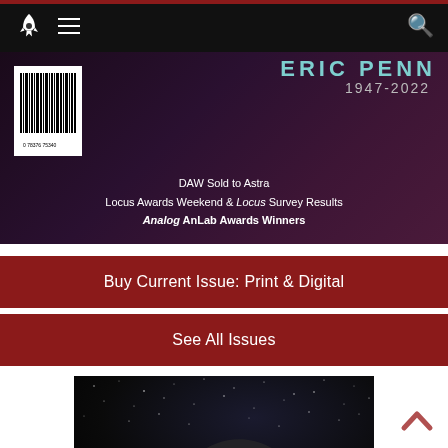Navigation bar with rocket logo, hamburger menu, search icon
[Figure (screenshot): Magazine cover banner showing partial author name 'ERIC PENN 1947-2022', barcode, and headlines: DAW Sold to Astra / Locus Awards Weekend & Locus Survey Results / Analog AnLab Awards Winners]
Buy Current Issue: Print & Digital
See All Issues
[Figure (photo): Book advertisement on dark starfield background with quote: "A PENNY DREADFUL to end all penny dreadfuls." —JOE HILL]
"A PENNY DREADFUL to end all penny dreadfuls." —JOE HILL